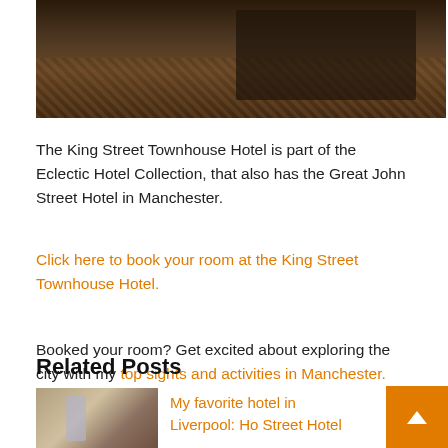[Figure (photo): Interior photo of a hotel restaurant or dining room with wooden floors, tables set for dining, and warm lighting]
The King Street Townhouse Hotel is part of the Eclectic Hotel Collection, that also has the Great John Street Hotel in Manchester.
Click here to book your room at the King Street Townhouse Hotel.
Booked your room? Get excited about exploring the city with my top sights and activities in Manchester.
Related Posts
[Figure (photo): Thumbnail photo of a hotel room interior]
My favorite hotel in Liverpool: Ho... Street Hotel